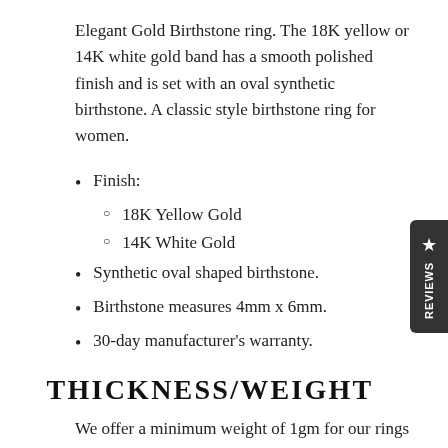Elegant Gold Birthstone ring. The 18K yellow or 14K white gold band has a smooth polished finish and is set with an oval synthetic birthstone. A classic style birthstone ring for women.
Finish:
18K Yellow Gold
14K White Gold
Synthetic oval shaped birthstone.
Birthstone measures 4mm x 6mm.
30-day manufacturer's warranty.
THICKNESS/WEIGHT
We offer a minimum weight of 1gm for our rings to make it more affordable, but the standard weight for this design is